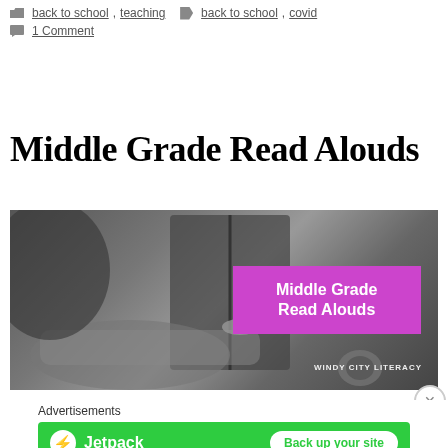back to school, teaching   back to school, covid
1 Comment
Middle Grade Read Alouds
[Figure (photo): Black and white photo of a person holding an open book, with a magenta/pink overlay box containing the text 'Middle Grade Read Alouds' and watermark 'WINDY CITY LITERACY']
Advertisements
[Figure (infographic): Jetpack advertisement banner with green background, Jetpack logo and name on the left, and a 'Back up your site' button on the right]